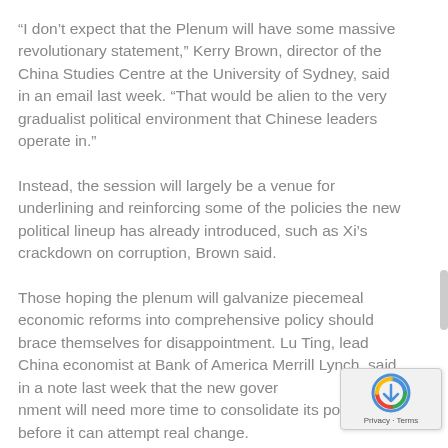“I don’t expect that the Plenum will have some massive revolutionary statement,” Kerry Brown, director of the China Studies Centre at the University of Sydney, said in an email last week. “That would be alien to the very gradualist political environment that Chinese leaders operate in.”
Instead, the session will largely be a venue for underlining and reinforcing some of the policies the new political lineup has already introduced, such as Xi’s crackdown on corruption, Brown said.
Those hoping the plenum will galvanize piecemeal economic reforms into comprehensive policy should brace themselves for disappointment. Lu Ting, lead China economist at Bank of America Merrill Lynch, said in a note last week that the new government will need more time to consolidate its power before it can attempt real change.